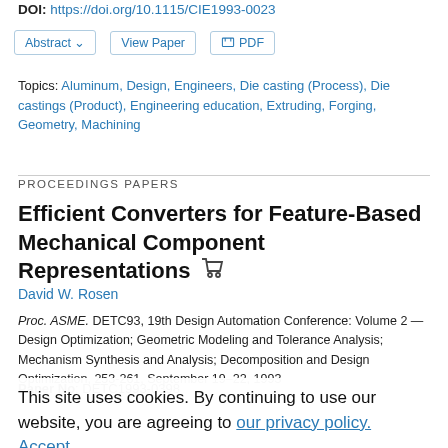DOI: https://doi.org/10.1115/CIE1993-0023
Abstract | View Paper | PDF
Topics: Aluminum, Design, Engineers, Die casting (Process), Die castings (Product), Engineering education, Extruding, Forging, Geometry, Machining
PROCEEDINGS PAPERS
Efficient Converters for Feature-Based Mechanical Component Representations
David W. Rosen
Proc. ASME. DETC93, 19th Design Automation Conference: Volume 2 — Design Optimization; Geometric Modeling and Tolerance Analysis; Mechanism Synthesis and Analysis; Decomposition and Design Optimization, 253-261, September 19–22, 1993
Paper No: DETC1993-0398
This site uses cookies. By continuing to use our website, you are agreeing to our privacy policy. Accept